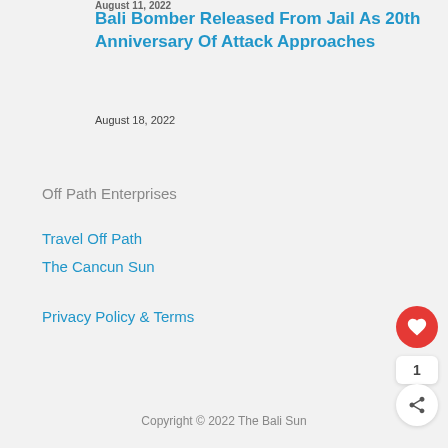August 11, 2022
Bali Bomber Released From Jail As 20th Anniversary Of Attack Approaches
August 18, 2022
Off Path Enterprises
Travel Off Path
The Cancun Sun
Privacy Policy & Terms
Copyright © 2022 The Bali Sun